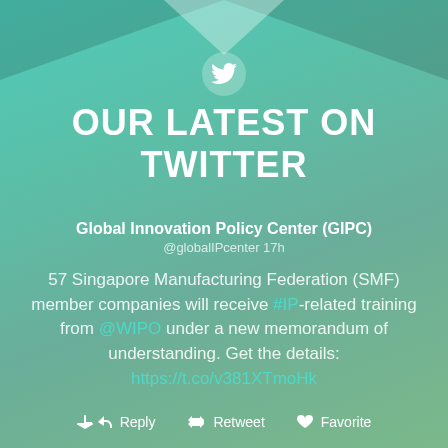[Figure (infographic): Twitter social media post card with teal/green gradient background, decorative chevron at top, Twitter bird icon in circle, title 'OUR LATEST ON TWITTER', tweet from Global Innovation Policy Center (GIPC) @globalIPcenter about 57 Singapore Manufacturing Federation member companies receiving IP training from WIPO, with Reply, Retweet, Favorite action buttons at bottom]
OUR LATEST ON TWITTER
Global Innovation Policy Center (GIPC)
@globalIPcenter 17h
57 Singapore Manufacturing Federation (SMF) member companies will receive #IP-related training from @WIPO under a new memorandum of understanding. Get the details: https://t.co/v381XTmoHk
Reply  Retweet  Favorite